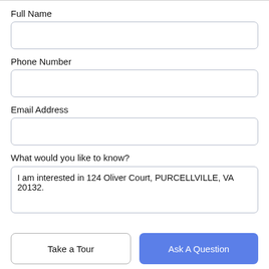Full Name
[Figure (other): Empty text input field for Full Name]
Phone Number
[Figure (other): Empty text input field for Phone Number]
Email Address
[Figure (other): Empty text input field for Email Address]
What would you like to know?
[Figure (other): Textarea with pre-filled text: I am interested in 124 Oliver Court, PURCELLVILLE, VA 20132.]
Take a Tour
Ask A Question